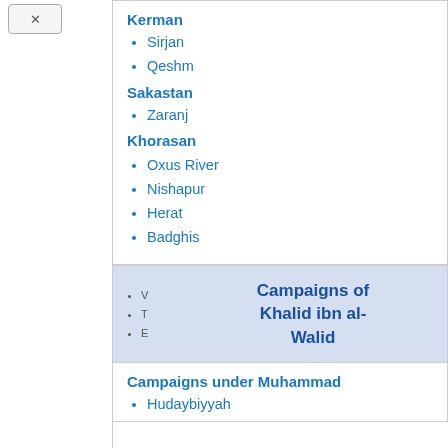Kerman
Sirjan
Qeshm
Sakastan
Zaranj
Khorasan
Oxus River
Nishapur
Herat
Badghis
Campaigns of Khalid ibn al-Walid
Campaigns under Muhammad
Hudaybiyyah